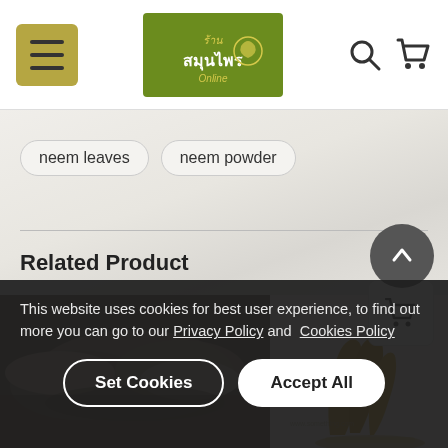[Figure (screenshot): Website header with hamburger menu icon, Thai herbal product store logo (สมุนไพร Online) in green box, and search/cart icons on the right]
neem leaves
neem powder
Related Product
[Figure (photo): Close-up photo of dried root/bark pieces in a mortar (left product image)]
[Figure (photo): Photo of yellow/golden turmeric root pieces against white background (right product image)]
This website uses cookies for best user experience, to find out more you can go to our Privacy Policy and Cookies Policy
Set Cookies
Accept All